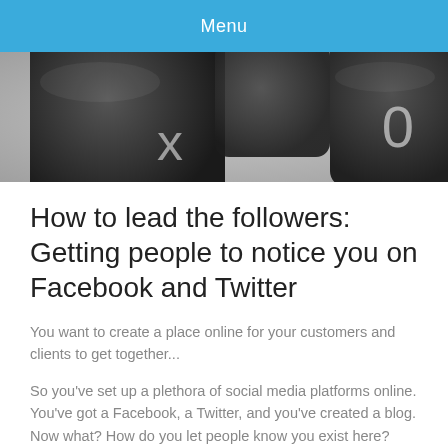Menu
[Figure (photo): Close-up photo of dark keyboard keys including keys with 'x' and '0' characters, with shallow depth of field]
How to lead the followers: Getting people to notice you on Facebook and Twitter
You want to create a place online for your customers and clients to get together...
So you've set up a plethora of social media platforms online. You've got a Facebook, a Twitter, and you've created a blog. Now what? How do you let people know you exist here? Here are a few tactics to get your going and how to maintain (and build upon those...